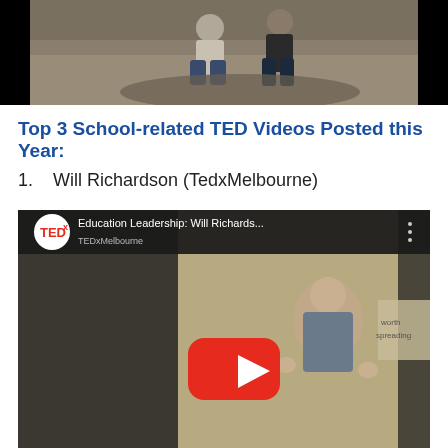[Figure (photo): A photo showing two people sitting on rocks outdoors, against a black background letterbox frame.]
Top 3 School-related TED Videos Posted this Year:
1.   Will Richardson (TedxMelbourne)
[Figure (screenshot): YouTube video thumbnail for TEDx talk titled 'Education Leadership: Will Richards...' showing a man gesturing on stage with TEDx logo and YouTube play button overlay.]